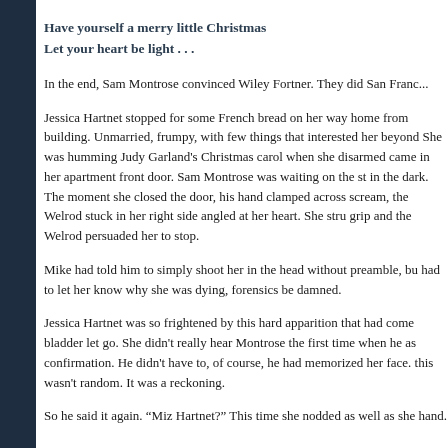Have yourself a merry little Christmas
Let your heart be light . . .
In the end, Sam Montrose convinced Wiley Fortner. They did San Franc...
Jessica Hartnet stopped for some French bread on her way home from building. Unmarried, frumpy, with few things that interested her beyond She was humming Judy Garland's Christmas carol when she disarmed came in her apartment front door. Sam Montrose was waiting on the st in the dark. The moment she closed the door, his hand clamped across scream, the Welrod stuck in her right side angled at her heart. She stru grip and the Welrod persuaded her to stop.
Mike had told him to simply shoot her in the head without preamble, bu had to let her know why she was dying, forensics be damned.
Jessica Hartnet was so frightened by this hard apparition that had come bladder let go. She didn't really hear Montrose the first time when he as confirmation. He didn't have to, of course, he had memorized her face. this wasn't random. It was a reckoning.
So he said it again. “Miz Hartnet?” This time she nodded as well as she hand.